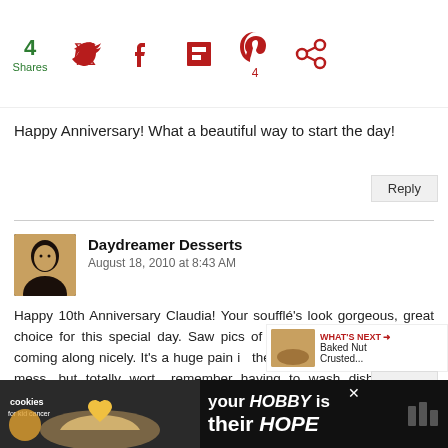4 Shares | Social share icons: Twitter, Facebook, Flipboard, Pinterest (4), Other
Happy Anniversary! What a beautiful way to start the day!
Reply
[Figure (photo): Avatar photo of Daydreamer Desserts commenter - person with dark hair]
Daydreamer Desserts
August 18, 2010 at 8:43 AM
Happy 10th Anniversary Claudia! Your soufflé's look gorgeous, great choice for this special day. Saw pics of your kitchen yesterday, it's coming along nicely. It's a huge pain in the but having to deal with the mess, but totally worth it. I remember having to wash dishes in the bathroom sink for 2 weeks, no fun at all! So hang in there... :)
[Figure (infographic): What's Next widget showing Baked Nut Crusted... with food image thumbnail]
Reply
[Figure (infographic): Advertisement banner: cookies for kid cancer - your HOBBY is their HOPE]